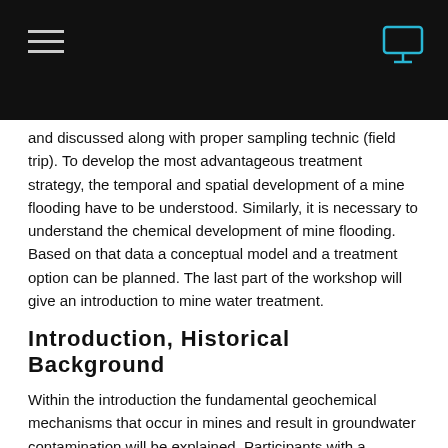and discussed along with proper sampling technic (field trip). To develop the most advantageous treatment strategy, the temporal and spatial development of a mine flooding have to be understood. Similarly, it is necessary to understand the chemical development of mine flooding. Based on that data a conceptual model and a treatment option can be planned. The last part of the workshop will give an introduction to mine water treatment.
Introduction, Historical Background
Within the introduction the fundamental geochemical mechanisms that occur in mines and result in groundwater contamination will be explained. Participants with a hydrogeological as well as those with a mining background will have a common mining-hydrogeological vocabulary after the first part of the lecture. Examples will demonstrate the effects of mining towards groundwater and the environment as well as the methods in